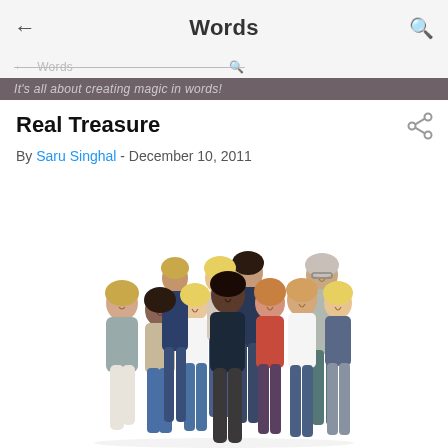Words
It's all about creating magic in words!
Real Treasure
By Saru Singhal - December 10, 2011
[Figure (photo): A large group of diverse, happy people hugging and smiling together against a white background.]